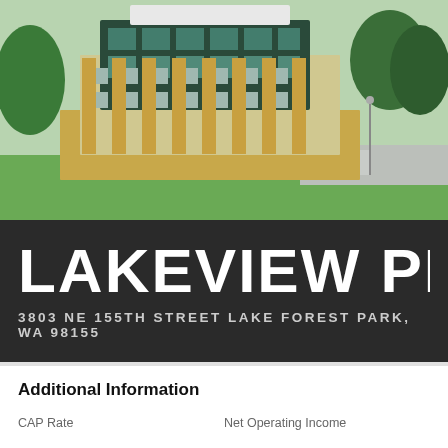[Figure (illustration): Architectural rendering of Lakeview Place, a multi-story mixed-use building with glass facade, yellow/tan cladding panels, and green landscaping around it, aerial perspective view.]
LAKEVIEW PLA
3803 NE 155TH STREET LAKE FOREST PARK, WA 98155
Additional Information
CAP Rate
Net Operating Income